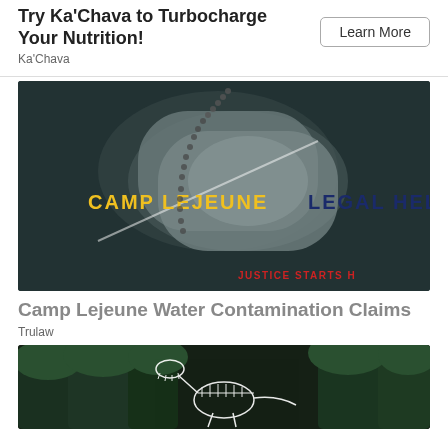Try Ka'Chava to Turbocharge Your Nutrition!
Ka'Chava
[Figure (photo): Dark background with military dog tags, text reading 'CAMP LEJEUNE LEGAL HELP' in yellow and blue, 'JUSTICE STARTS H' in red at bottom right]
Camp Lejeune Water Contamination Claims
Trulaw
[Figure (photo): Forest scene with white skeletal/mechanical dinosaur sculpture among green trees]